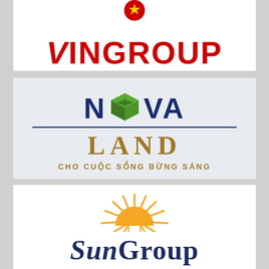[Figure (logo): Vingroup logo with red text 'VINGROUP' and a red/yellow emblem above]
[Figure (logo): Novaland logo with green 3D cube icon replacing the 'O', dark blue 'N VA' and 'LAND' in gold/brown, tagline 'CHO CUOC SONG BUNG SANG' in gold on light blue background]
[Figure (logo): SunGroup logo with orange/yellow sun rays semicircle graphic and dark navy blue text 'SunGroup' in serif italic font]